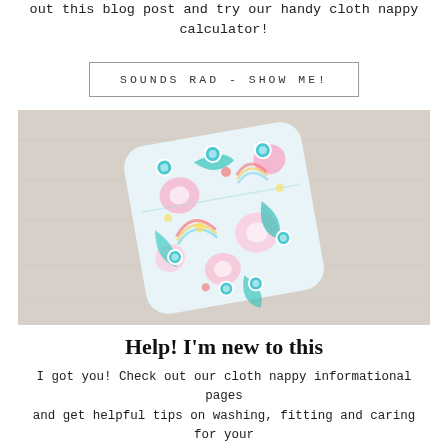out this blog post and try our handy cloth nappy calculator!
SOUNDS RAD - SHOW ME!
[Figure (photo): A colorful cloth nappy/diaper with a floral and rainbow pattern in pink, blue, green and yellow, folded and placed on a light wooden surface.]
Help! I'm new to this
I got you! Check out our cloth nappy informational pages and get helpful tips on washing, fitting and caring for your